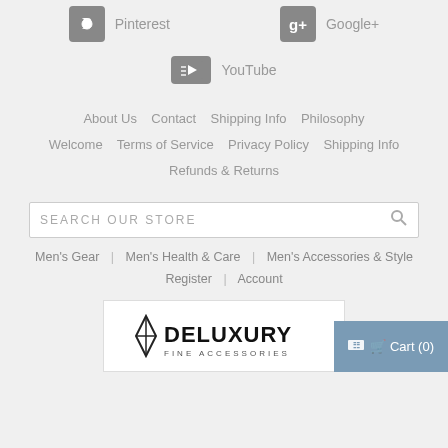Pinterest
Google+
YouTube
About Us   Contact   Shipping Info   Philosophy   Welcome   Terms of Service   Privacy Policy   Shipping Info   Refunds & Returns
SEARCH OUR STORE
Men's Gear | Men's Health & Care | Men's Accessories & Style
Register | Account
[Figure (logo): Deluxury Fine Accessories logo with diamond shape icon]
Cart (0)